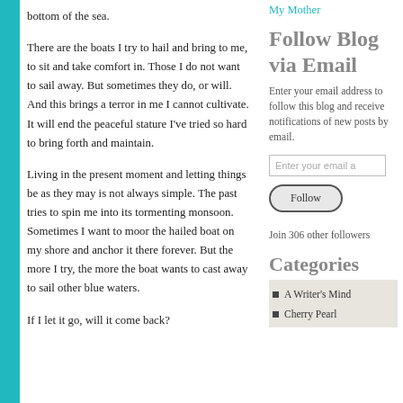bottom of the sea.
There are the boats I try to hail and bring to me, to sit and take comfort in. Those I do not want to sail away. But sometimes they do, or will. And this brings a terror in me I cannot cultivate. It will end the peaceful stature I've tried so hard to bring forth and maintain.
Living in the present moment and letting things be as they may is not always simple. The past tries to spin me into its tormenting monsoon. Sometimes I want to moor the hailed boat on my shore and anchor it there forever. But the more I try, the more the boat wants to cast away to sail other blue waters.
If I let it go, will it come back?
My Mother
Follow Blog via Email
Enter your email address to follow this blog and receive notifications of new posts by email.
Join 306 other followers
Categories
A Writer's Mind
Cherry Pearl